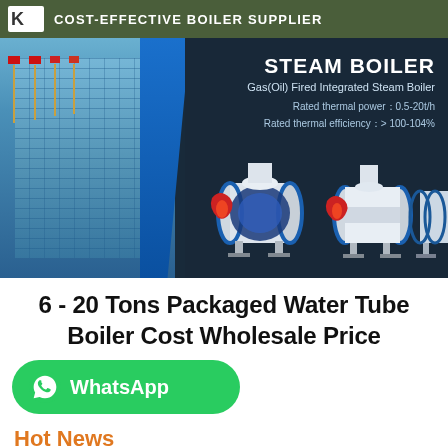COST-EFFECTIVE BOILER SUPPLIER
[Figure (photo): Steam boiler product banner showing industrial boilers with building background. Text overlay: STEAM BOILER, Gas(Oil) Fired Integrated Steam Boiler, Rated thermal power: 0.5-20t/h, Rated thermal efficiency: > 100-104%]
6 - 20 Tons Packaged Water Tube Boiler Cost Wholesale Price
[Figure (logo): WhatsApp button with phone icon and text WhatsApp]
Hot News